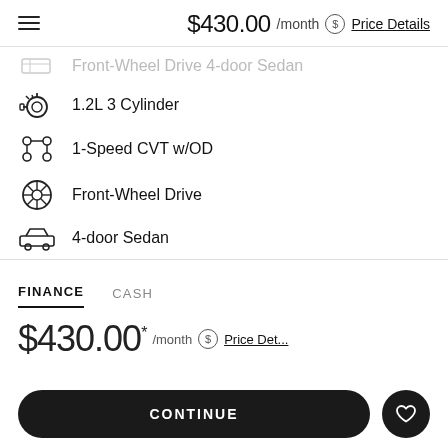$430.00 /month Price Details
1.2L 3 Cylinder
1-Speed CVT w/OD
Front-Wheel Drive
4-door Sedan
FINANCE   CASH
$430.00* /month Price Details